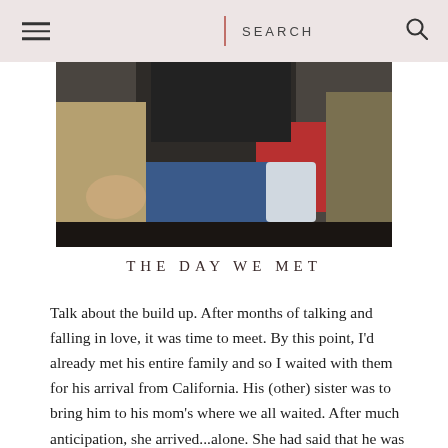SEARCH
[Figure (photo): A photograph showing people seated together, hands visible, one person in a red top and another in a black jacket, close family scene]
THE DAY WE MET
Talk about the build up. After months of talking and falling in love, it was time to meet. By this point, I'd already met his entire family and so I waited with them for his arrival from California. His (other) sister was to bring him to his mom's where we all waited. After much anticipation, she arrived...alone. She had said that he was spending a little more time with his dad, and would come over in a few hours. Imagine my surprise when a few minutes later, I caught my first glimpse of my...